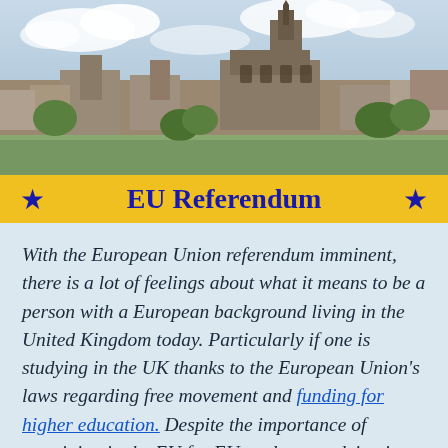[Figure (photo): Aerial/elevated view of a European-style city with a large cathedral or university tower prominent in the centre, under a blue sky with clouds.]
EU Referendum
With the European Union referendum imminent, there is a lot of feelings about what it means to be a person with a European background living in the United Kingdom today. Particularly if one is studying in the UK thanks to the European Union's laws regarding free movement and funding for higher education. Despite the importance of remaining in the EU for EU students studying in the United